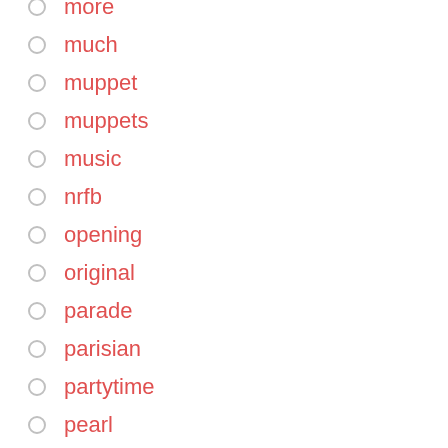more
much
muppet
muppets
music
nrfb
opening
original
parade
parisian
partytime
pearl
perfect
peter
place
pokemon
polly
polly's
poly